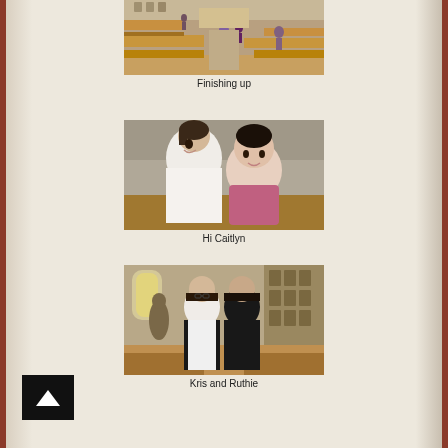[Figure (photo): Interior of a church with wooden pews, people standing in the background near the front]
Finishing up
[Figure (photo): A young woman holding and smiling at a baby girl who is looking at the camera]
Hi Caitlyn
[Figure (photo): Two women standing inside a church decorated with icons and religious imagery]
Kris and Ruthie